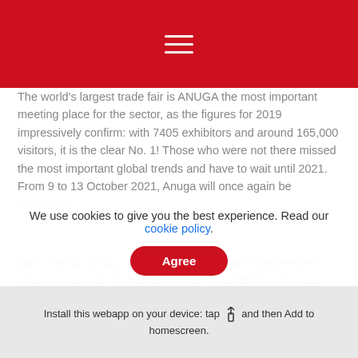Navigation menu (hamburger icon on red bar)
The world's largest trade fair is ANUGA the most important meeting place for the sector, as the figures for 2019 impressively confirm: with 7405 exhibitors and around 165,000 visitors, it is the clear No. 1! Those who were not there missed the most important global trends and have to wait until 2021. From 9 to 13 October 2021, Anuga will once again be presenting
We use cookies to give you the best experience. Read our cookie policy.
Agree
Halal products are presented to an international trade audience in the form of a shelf presentation at Anuga Halal Market. In recent years, this exhibition has developed into one of the world's leading trend and orientation shows on all aspects of halal. For many international b...
Install this webapp on your device: tap  and then Add to homescreen.